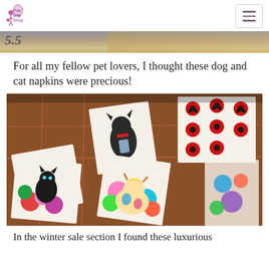Poa Bop Shop
[Figure (photo): Partial top strip of a previous photo showing a decorative scene]
For all my fellow pet lovers, I thought these dog and cat napkins were precious!
[Figure (photo): Photo of colorful animal-themed napkins in a wire display rack at a shop. Napkins feature dogs on scooters, black cats with flowers, cows, ladybugs, and other animal illustrations.]
In the winter sale section I found these luxurious